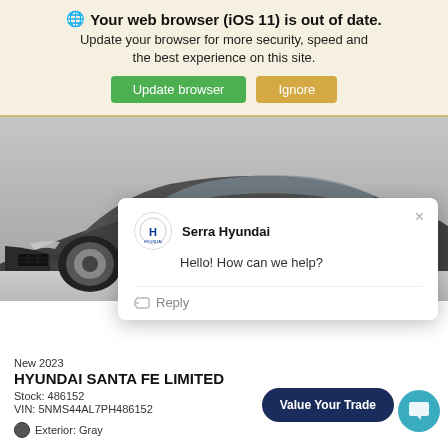🌐 Your web browser (iOS 11) is out of date. Update your browser for more security, speed and the best experience on this site.
Update browser | Ignore
[Figure (photo): Side view of a dark grey Hyundai Santa Fe SUV]
Serra Hyundai
Hello! How can we help?
Reply
New 2023
HYUNDAI SANTA FE LIMITED
Stock: 486152
VIN: 5NMS44AL7PH486152
Exterior: Gray
Value Your Trade